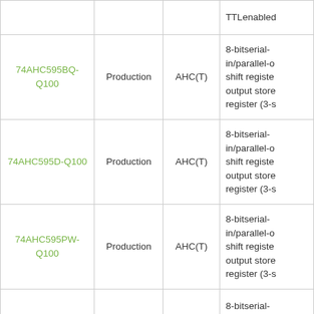|  |  |  | TTLenabled |
| 74AHC595BQ-Q100 | Production | AHC(T) | 8-bitserial-in/parallel-o shift registe output store register (3-s |
| 74AHC595D-Q100 | Production | AHC(T) | 8-bitserial-in/parallel-o shift registe output store register (3-s |
| 74AHC595PW-Q100 | Production | AHC(T) | 8-bitserial-in/parallel-o shift registe output store register (3-s |
| 74AHCT595BQ-Q100 | Production | AHC(T) | 8-bitserial-in/parallel-o shift registe output store |